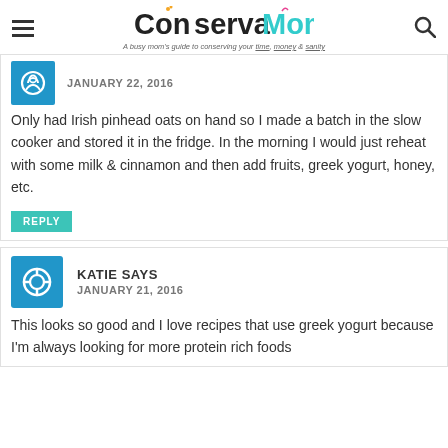ConservaMom - A busy mom's guide to conserving your time, money & sanity
JANUARY 22, 2016
Only had Irish pinhead oats on hand so I made a batch in the slow cooker and stored it in the fridge. In the morning I would just reheat with some milk & cinnamon and then add fruits, greek yogurt, honey, etc.
REPLY
KATIE SAYS
JANUARY 21, 2016
This looks so good and I love recipes that use greek yogurt because I'm always looking for more protein rich foods